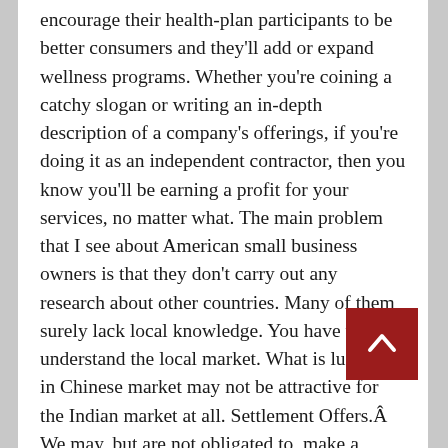encourage their health-plan participants to be better consumers and they'll add or expand wellness programs. Whether you're coining a catchy slogan or writing an in-depth description of a company's offerings, if you're doing it as an independent contractor, then you know you'll be earning a profit for your services, no matter what. The main problem that I see about American small business owners is that they don't carry out any research about other countries. Many of them surely lack local knowledge. You have to understand the local market. What is lucrative in Chinese market may not be attractive for the Indian market at all. Settlement Offers.Â We may, but are not obligated to, make a written settlement offer anytime before or during arbitration. The amount or terms of any settlement offer may not be disclosed to the arbitrator unless and until the arbitrator issues an award on the claim. If you do not accept the offer and the arbitrator awards you an